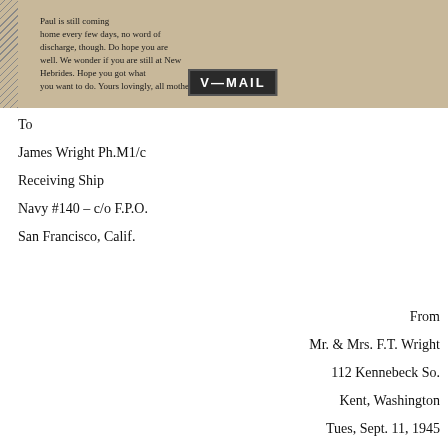[Figure (photo): Scanned V-Mail letter with handwritten cursive text visible, a diagonal striped border on the left, and a dark V-MAIL stamp/label in the lower center of the image strip.]
To
James Wright Ph.M1/c
Receiving Ship
Navy #140 – c/o F.P.O.
San Francisco, Calif.
From
Mr. & Mrs. F.T. Wright
112 Kennebeck So.
Kent, Washington
Tues, Sept. 11, 1945